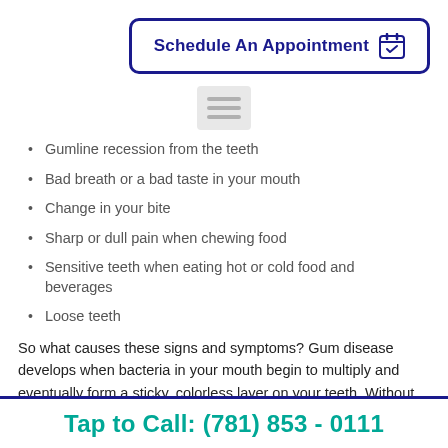[Figure (other): Schedule An Appointment button with calendar icon, dark navy border and text]
[Figure (other): Menu/hamburger icon with three horizontal lines on light gray background]
Gumline recession from the teeth
Bad breath or a bad taste in your mouth
Change in your bite
Sharp or dull pain when chewing food
Sensitive teeth when eating hot or cold food and beverages
Loose teeth
So what causes these signs and symptoms? Gum disease develops when bacteria in your mouth begin to multiply and eventually form a sticky, colorless layer on your teeth. Without proper dental hygiene, this layer hardens to become plaque which
Tap to Call: (781) 853 - 0111